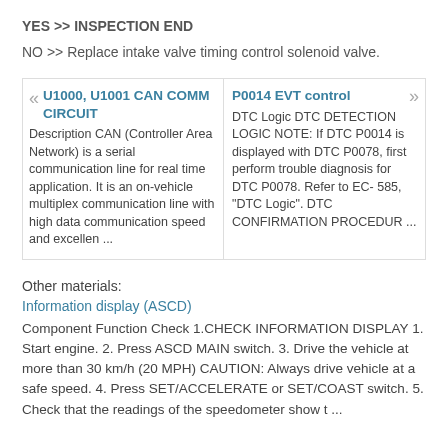YES >> INSPECTION END
NO >> Replace intake valve timing control solenoid valve.
U1000, U1001 CAN COMM CIRCUIT — Description CAN (Controller Area Network) is a serial communication line for real time application. It is an on-vehicle multiplex communication line with high data communication speed and excellen ...
P0014 EVT control — DTC Logic DTC DETECTION LOGIC NOTE: If DTC P0014 is displayed with DTC P0078, first perform trouble diagnosis for DTC P0078. Refer to EC- 585, "DTC Logic". DTC CONFIRMATION PROCEDUR ...
Other materials:
Information display (ASCD)
Component Function Check 1.CHECK INFORMATION DISPLAY 1. Start engine. 2. Press ASCD MAIN switch. 3. Drive the vehicle at more than 30 km/h (20 MPH) CAUTION: Always drive vehicle at a safe speed. 4. Press SET/ACCELERATE or SET/COAST switch. 5. Check that the readings of the speedometer show t ...